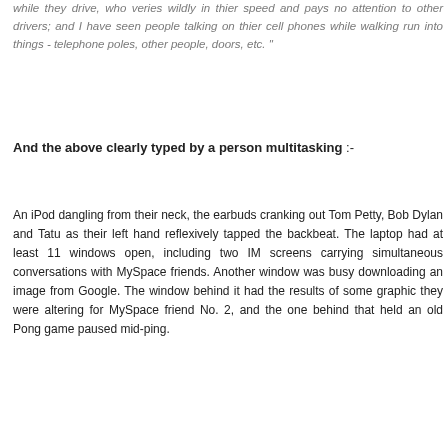while they drive, who veries wildly in thier speed and pays no attention to other drivers; and I have seen people talking on thier cell phones while walking run into things - telephone poles, other people, doors, etc. "
And the above clearly typed by a person multitasking :-
An iPod dangling from their neck, the earbuds cranking out Tom Petty, Bob Dylan and Tatu as their left hand reflexively tapped the backbeat. The laptop had at least 11 windows open, including two IM screens carrying simultaneous conversations with MySpace friends. Another window was busy downloading an image from Google. The window behind it had the results of some graphic they were altering for MySpace friend No. 2, and the one behind that held an old Pong game paused mid-ping.